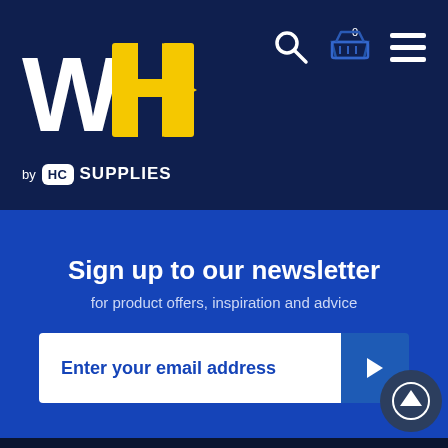[Figure (logo): WH by HC Supplies logo on dark navy background with search, cart, and menu icons]
Sign up to our newsletter
for product offers, inspiration and advice
[Figure (infographic): Email signup input field with 'Enter your email address' placeholder text and a blue submit arrow button]